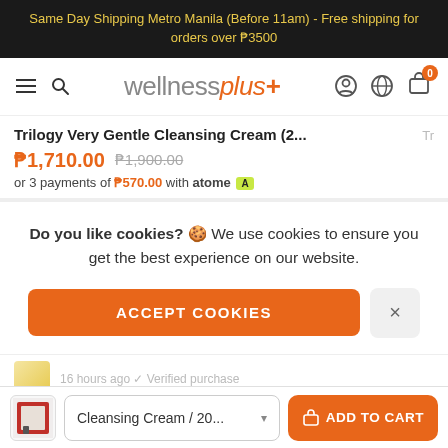Same Day Shipping Metro Manila (Before 11am) - Free shipping for orders over ₱3500
[Figure (screenshot): Wellnessplus+ navigation bar with hamburger menu, search icon, logo, account, globe and cart icons with badge showing 0]
Trilogy Very Gentle Cleansing Cream (2...
₱1,710.00  ₱1,900.00
or 3 payments of ₱570.00 with atome
Do you like cookies? 🍪 We use cookies to ensure you get the best experience on our website.
ACCEPT COOKIES
16 hours ago ✓ Verified purchase
Cleansing Cream / 20...  ADD TO CART